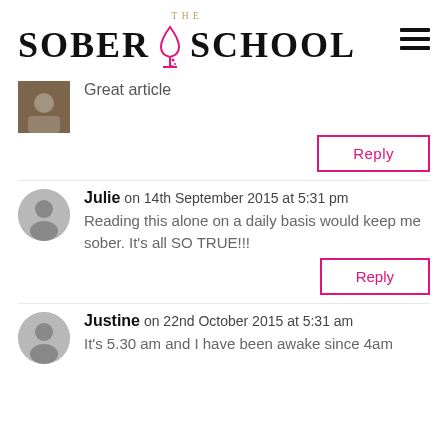THE SOBER SCHOOL
Great article
Reply
Julie on 14th September 2015 at 5:31 pm
Reading this alone on a daily basis would keep me sober. It's all SO TRUE!!!
Reply
Justine on 22nd October 2015 at 5:31 am
It's 5.30 am and I have been awake since 4am